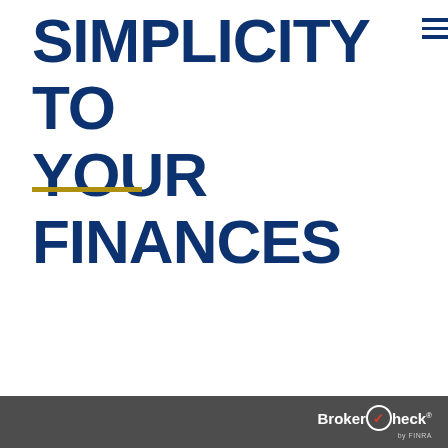SIMPLICITY TO YOUR FINANCES
[Figure (illustration): Gold/yellow horizontal rule decorative underline beneath the title text]
BrokerCheck by FINRA